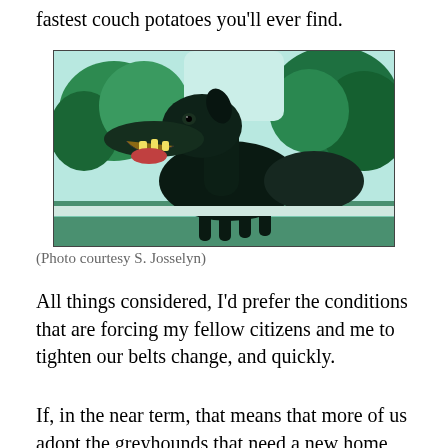fastest couch potatoes you'll ever find.
[Figure (photo): Close-up photograph of a black greyhound dog with mouth open, standing outdoors with trees in the background. Teal/green color cast throughout the image.]
(Photo courtesy S. Josselyn)
All things considered, I'd prefer the conditions that are forcing my fellow citizens and me to tighten our belts change, and quickly.
If, in the near term, that means that more of us adopt the greyhounds that need a new home instead of a pure bred,